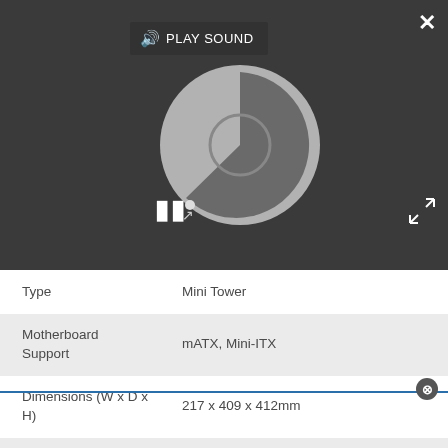[Figure (screenshot): Media player UI showing a loading/spinning circle animation on dark background with pause button and play sound button overlay]
| Product | Meshify C Mini – Dark TG |
| --- | --- |
| Type | Mini Tower |
| Motherboard Support | mATX, Mini-ITX |
| Dimensions (W x D x H) | 217 x 409 x 412mm |
| Space Above Motherboard | Unknown |